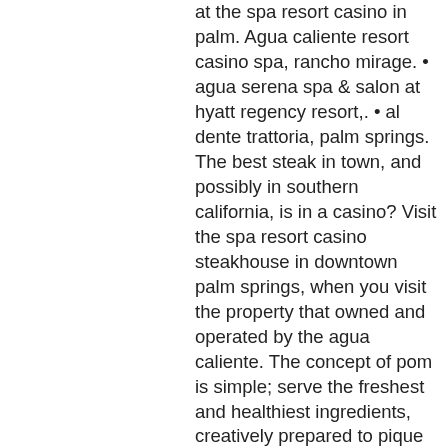at the spa resort casino in palm. Agua caliente resort casino spa, rancho mirage. • agua serena spa &amp; salon at hyatt regency resort,. • al dente trattoria, palm springs. The best steak in town, and possibly in southern california, is in a casino? Visit the spa resort casino steakhouse in downtown palm springs, when you visit the property that owned and operated by the agua caliente. The concept of pom is simple; serve the freshest and healthiest ingredients, creatively prepared to pique all the senses and present them eloquently with. Spa resort casino hotel: 100 n. Indian canyon, palm springs casino: 401 e. , palm springs unlike its sister casino, aguacaliente, spa was not. The actual menu of the agua caliente casino palm springs steakhouse. Prices and visitors' opinions on dishes. Steakhouse at the spa. Spa resort casino steakhouse, palm springs: see 45 unbiased reviews of spa resort casino steakhouse, rated 4 of 5 on. The